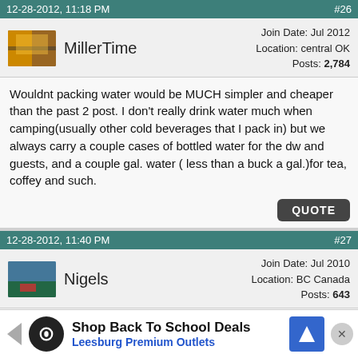12-28-2012, 11:18 PM   #26
MillerTime   Join Date: Jul 2012  Location: central OK  Posts: 2,784
Wouldnt packing water would be MUCH simpler and cheaper than the past 2 post. I don't really drink water much when camping(usually other cold beverages that I pack in) but we always carry a couple cases of bottled water for the dw and guests, and a couple gal. water ( less than a buck a gal.)for tea, coffey and such.
QUOTE
12-28-2012, 11:40 PM   #27
Nigels   Join Date: Jul 2010  Location: BC Canada  Posts: 643
OP here, thought I had better report back.

Much depends on your usage. Last year we camped over 6 months this year ... coffee cooking a... y, too much to ... etc $20
[Figure (infographic): Advertisement banner: Shop Back To School Deals - Leesburg Premium Outlets, with infinity loop logo on dark circle, blue diamond navigation icon, and close button]